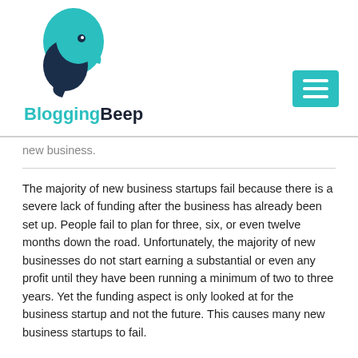BloggingBeep
new business.
The majority of new business startups fail because there is a severe lack of funding after the business has already been set up. People fail to plan for three, six, or even twelve months down the road. Unfortunately, the majority of new businesses do not start earning a substantial or even any profit until they have been running a minimum of two to three years. Yet the funding aspect is only looked at for the business startup and not the future. This causes many new business startups to fail.
Before you ever even begin planning your business startup funding, it is imperative that you select a business that is going to be